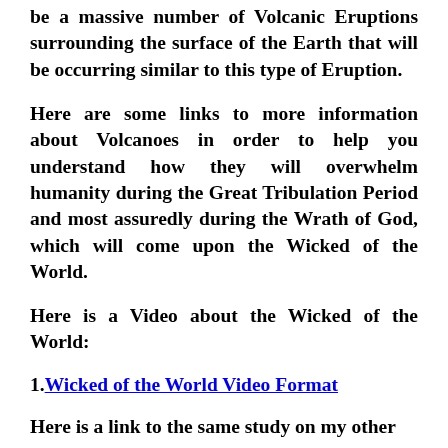be a massive number of Volcanic Eruptions surrounding the surface of the Earth that will be occurring similar to this type of Eruption.
Here are some links to more information about Volcanoes in order to help you understand how they will overwhelm humanity during the Great Tribulation Period and most assuredly during the Wrath of God, which will come upon the Wicked of the World.
Here is a Video about the Wicked of the World:
1. Wicked of the World Video Format
Here is a link to the same study on my other